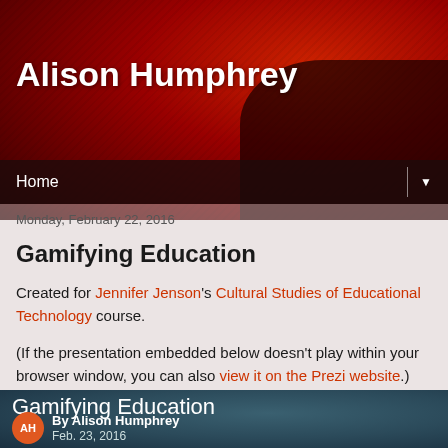[Figure (photo): Red textured banner background for blog header]
Alison Humphrey
Home
Monday, February 22, 2016
Gamifying Education
Created for Jennifer Jenson's Cultural Studies of Educational Technology course.
(If the presentation embedded below doesn't play within your browser window, you can also view it on the Prezi website.)
[Figure (screenshot): Prezi embedded presentation showing 'Gamifying Education' by Alison Humphrey, Feb. 23, 2016]